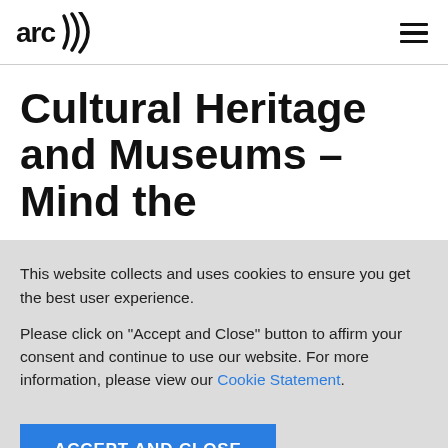arc (logo)
Cultural Heritage and Museums – Mind the
This website collects and uses cookies to ensure you get the best user experience.
Please click on "Accept and Close" button to affirm your consent and continue to use our website. For more information, please view our Cookie Statement.
ACCEPT AND CLOSE